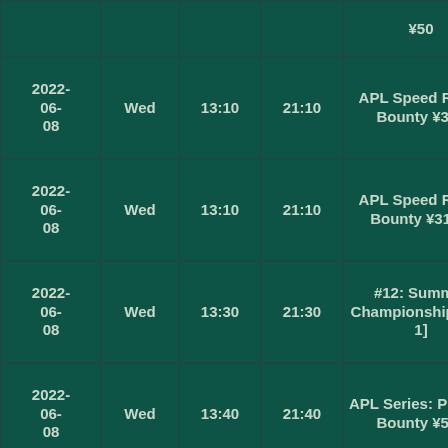| Date | Day | Time | End Time | Event |
| --- | --- | --- | --- | --- |
|  |  |  |  | ¥50 |
| 2022-06-08 | Wed | 13:10 | 21:10 | APL Speed Racer Bounty ¥315 |
| 2022-06-08 | Wed | 13:10 | 21:10 | APL Speed Racer Bounty ¥31.50 |
| 2022-06-08 | Wed | 13:30 | 21:30 | #12: Summer Championship [Day 1] |
| 2022-06-08 | Wed | 13:40 | 21:40 | APL Series: PLO-NL Bounty ¥525 |
| 2022-06-08 | Wed | 13:40 | 21:40 | APL Series: PLO-NL Bounty ¥52.50 |
| 2022-06-08 | Wed | 14:00 | 22:00 | APL Series: Hold'em Classic ¥1,100 |
| 2022-06-
08 | Wed | 14:00 | 22:00 | APL Series: Zodiac Dog |